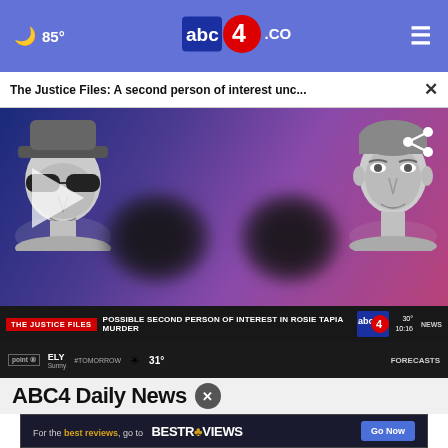🌙 85° — abc4.COM — ☰
The Justice Files: A second person of interest unc... ×
[Figure (screenshot): News video thumbnail showing two grayscale composite sketches of suspects, blurred circles in center, with lower bar reading 'THE JUSTICE FILES / POSSIBLE SECOND PERSON OF INTEREST IN ROSIE TAPIA MURDER' and abc4 NEWS logo, temperature 30°, time 10:16. Bottom bar shows ELY, Sunny, 31°, FORECASTS. Play button visible on left side.]
ABC4 Daily News ✕
[Figure (screenshot): BestReviews advertisement: 'For the best reviews, go to BESTREVIEWS' with a 'Go Now' blue button]